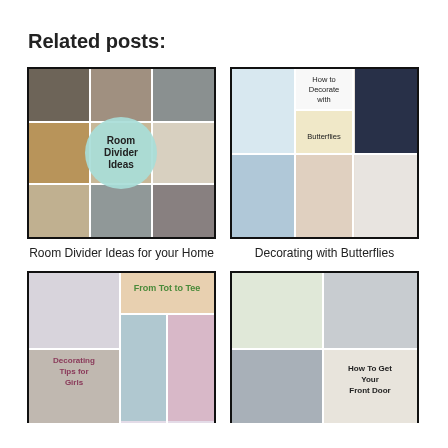Related posts:
[Figure (photo): Collage of room divider interior photos with 'Room Divider Ideas' text overlay on teal circle]
Room Divider Ideas for your Home
[Figure (photo): Collage of butterfly-themed home decor items with 'How to Decorate with Butterflies' text]
Decorating with Butterflies
[Figure (photo): Girls room decorating collage with 'From Tot to Tee' and 'Decorating Tips for Girls' text]
[Figure (photo): Front door decorating collage with 'How To Get Your Front Door' text]